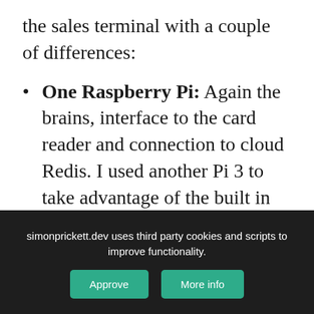the sales terminal with a couple of differences:
One Raspberry Pi: Again the brains, interface to the card reader and connection to cloud Redis. I used another Pi 3 to take advantage of the built in wifi hardware.
One set of traffic light LEDS: Instead
simonprickett.dev uses third party cookies and scripts to improve functionality.